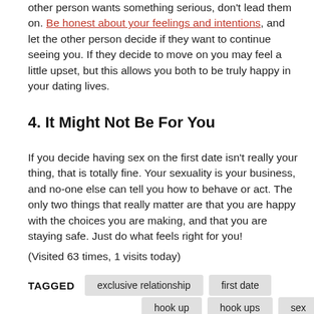other person wants something serious, don't lead them on. Be honest about your feelings and intentions, and let the other person decide if they want to continue seeing you. If they decide to move on you may feel a little upset, but this allows you both to be truly happy in your dating lives.
4. It Might Not Be For You
If you decide having sex on the first date isn't really your thing, that is totally fine. Your sexuality is your business, and no-one else can tell you how to behave or act. The only two things that really matter are that you are happy with the choices you are making, and that you are staying safe. Just do what feels right for you!
(Visited 63 times, 1 visits today)
TAGGED  exclusive relationship  first date  hook up  hook ups  sex